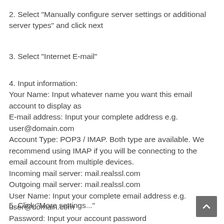2. Select "Manually configure server settings or additional server types" and click next
3. Select "Internet E-mail"
4. Input information:
Your Name: Input whatever name you want this email account to display as
E-mail address: Input your complete address e.g. user@domain.com
Account Type: POP3 / IMAP. Both type are available. We recommend using IMAP if you will be connecting to the email account from multiple devices.
Incoming mail server: mail.realssl.com
Outgoing mail server: mail.realssl.com
User Name: Input your complete email address e.g. user@domain.com
Password: Input your account password
5. Click "More settings..."